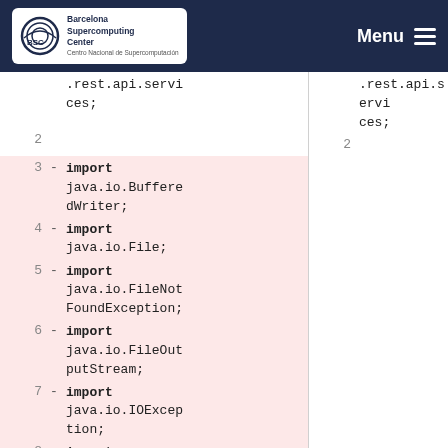Barcelona Supercomputing Center | Menu
[Figure (screenshot): Code diff view showing two panels side by side. Left panel shows removed lines (highlighted pink) with line numbers 1-8, each prefixed with a minus sign. Right panel shows the same file without removals. Lines show Java import statements: .rest.api.services; (line 1), blank (line 2), import java.io.BufferedWriter; (line 3), import java.io.File; (line 4), import java.io.FileNotFoundException; (line 5), import java.io.FileOutputStream; (line 6), import java.io.IOException; (line 7), import java.io.OutputStreamWriter; (line 8).]